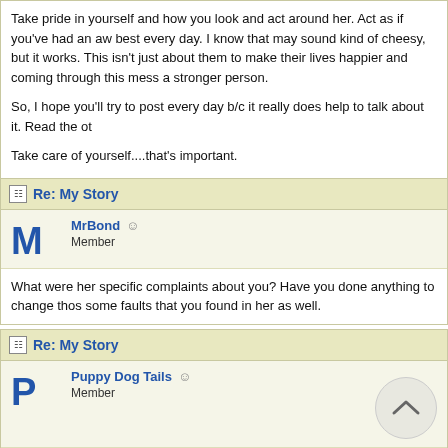Take pride in yourself and how you look and act around her. Act as if you've had an aw best every day. I know that may sound kind of cheesy, but it works. This isn't just about them to make their lives happier and coming through this mess a stronger person.
So, I hope you'll try to post every day b/c it really does help to talk about it. Read the ot
Take care of yourself....that's important.
Re: My Story
MrBond
Member
What were her specific complaints about you? Have you done anything to change thos some faults that you found in her as well.
Re: My Story
Puppy Dog Tails
Member